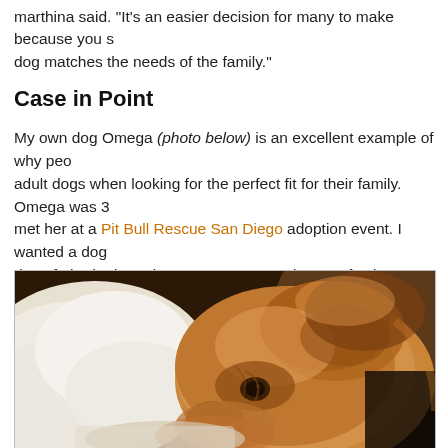marthina said. "It's an easier decision for many to make because you see the dog matches the needs of the family."
Case in Point
My own dog Omega (photo below) is an excellent example of why people choose adult dogs when looking for the perfect fit for their family. Omega was 3 when I met her at a Pit Bull Rescue San Diego adoption event. I wanted a dog that could be a therapy dog. If I had adopted a puppy, no matter how perfectly I raised him or her, there's no guarantee that puppy would grow up to have the temperament or personality to be a therapy dog. However, it was clear Omega's calm and loving temperament made her a wonderful therapy pet. Within months she was certified.
[Figure (photo): Close-up photo of a tan/golden pit bull dog resting its head, eyes looking downward, fur lit warmly by sunlight against a dark background.]